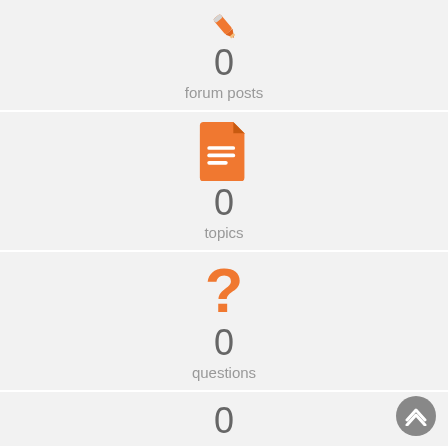[Figure (infographic): Orange pencil icon with count 0 and label 'forum posts']
0
forum posts
[Figure (infographic): Orange document/file icon with count 0 and label 'topics']
0
topics
[Figure (infographic): Orange question mark icon with count 0 and label 'questions']
0
questions
[Figure (infographic): Orange checkmark icon with count 0 (partially visible at bottom)]